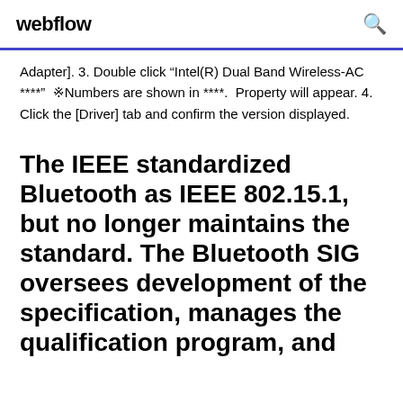webflow
Adapter]. 3. Double click “Intel(R) Dual Band Wireless-AC ****”  ※Numbers are shown in ****.  Property will appear. 4. Click the [Driver] tab and confirm the version displayed.
The IEEE standardized Bluetooth as IEEE 802.15.1, but no longer maintains the standard. The Bluetooth SIG oversees development of the specification, manages the qualification program, and